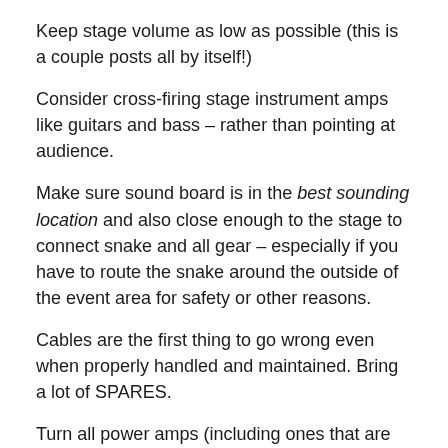Keep stage volume as low as possible (this is a couple posts all by itself!)
Consider cross-firing stage instrument amps like guitars and bass – rather than pointing at audience.
Make sure sound board is in the best sounding location and also close enough to the stage to connect snake and all gear – especially if you have to route the snake around the outside of the event area for safety or other reasons.
Cables are the first thing to go wrong even when properly handled and maintained. Bring a lot of SPARES.
Turn all power amps (including ones that are built into the speakers OFF or all the way DOWN when connecting or disconnecting gear. (there are shortcuts and general exception practices we will detail later).